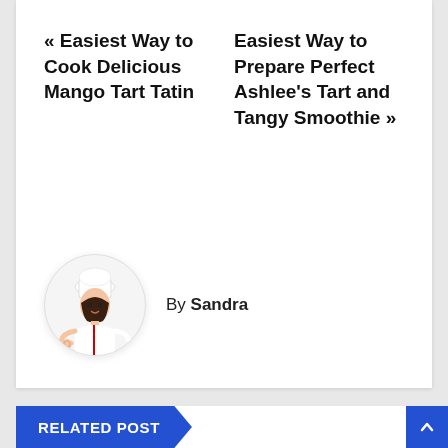« Easiest Way to Cook Delicious Mango Tart Tatin
Easiest Way to Prepare Perfect Ashlee's Tart and Tangy Smoothie »
By Sandra
[Figure (illustration): Circular avatar of a cartoon female chef in white uniform and chef hat, making an OK gesture]
RELATED POST